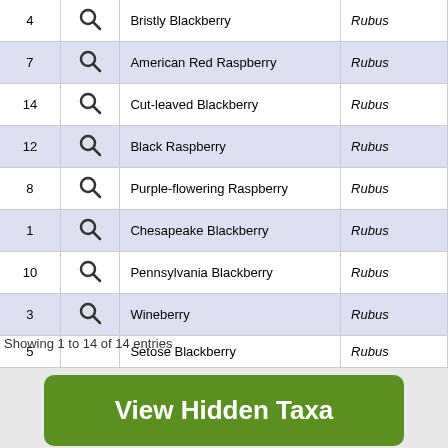| # |  | Common Name | Genus |
| --- | --- | --- | --- |
| 4 | Q | Bristly Blackberry | Rubus |
| 7 | Q | American Red Raspberry | Rubus |
| 14 | Q | Cut-leaved Blackberry | Rubus |
| 12 | Q | Black Raspberry | Rubus |
| 8 | Q | Purple-flowering Raspberry | Rubus |
| 1 | Q | Chesapeake Blackberry | Rubus |
| 10 | Q | Pennsylvania Blackberry | Rubus |
| 3 | Q | Wineberry | Rubus |
| 5 |  | Setose Blackberry | Rubus |
Showing 1 to 14 of 14 entries
View Hidden Taxa